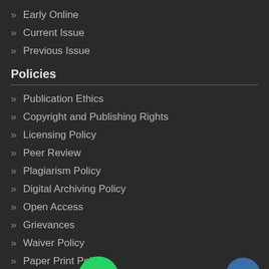Early Online
Current Issue
Previous Issue
Policies
Publication Ethics
Copyright and Publishing Rights
Licensing Policy
Peer Review
Plagiarism Policy
Digital Archiving Policy
Open Access
Grievances
Waiver Policy
Paper Print Policy
Authorship Criteria
Guidelin...